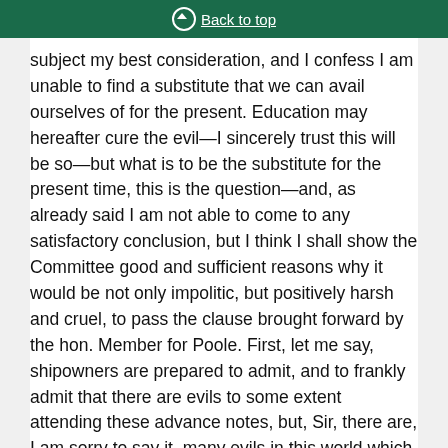Back to top
subject my best consideration, and I confess I am unable to find a substitute that we can avail ourselves of for the present. Education may hereafter cure the evil—I sincerely trust this will be so—but what is to be the substitute for the present time, this is the question—and, as already said I am not able to come to any satisfactory conclusion, but I think I shall show the Committee good and sufficient reasons why it would be not only impolitic, but positively harsh and cruel, to pass the clause brought forward by the hon. Member for Poole. First, let me say, shipowners are prepared to admit, and to frankly admit that there are evils to some extent attending these advance notes, but, Sir, there are, I am sorry to say it, many evils in this world which we see and deplore, but which we are compelled to